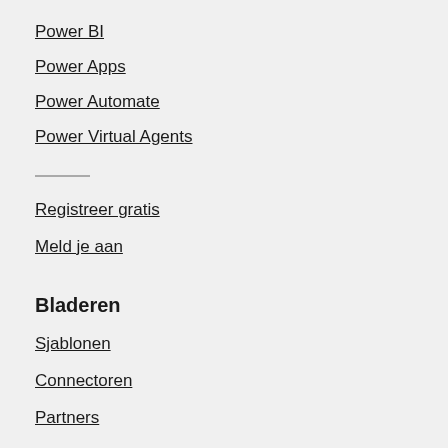Power BI
Power Apps
Power Automate
Power Virtual Agents
Registreer gratis
Meld je aan
Bladeren
Sjablonen
Connectoren
Partners